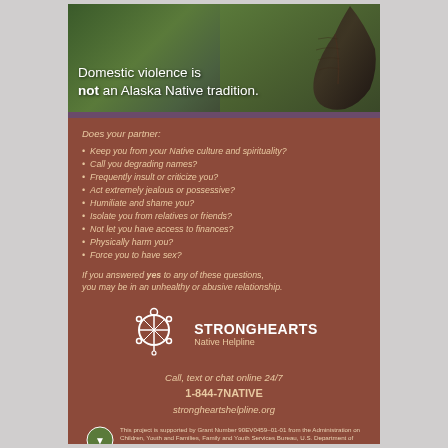[Figure (photo): Close-up photo of a Native eagle feather against a blurred green and brown background, with text overlay]
Domestic violence is not an Alaska Native tradition.
Does your partner:
Keep you from your Native culture and spirituality?
Call you degrading names?
Frequently insult or criticize you?
Act extremely jealous or possessive?
Humiliate and shame you?
Isolate you from relatives or friends?
Not let you have access to finances?
Physically harm you?
Force you to have sex?
If you answered yes to any of these questions, you may be in an unhealthy or abusive relationship.
STRONGHEARTS Native Helpline
Call, text or chat online 24/7
1-844-7NATIVE
strongheartshelpline.org
This project is supported by Grant Number 90EV0459-01-01 from the Administration on Children, Youth and Families, Family and Youth Services Bureau, U.S. Department of Health and Human Services. Its contents are solely the responsibility of the authors and do not